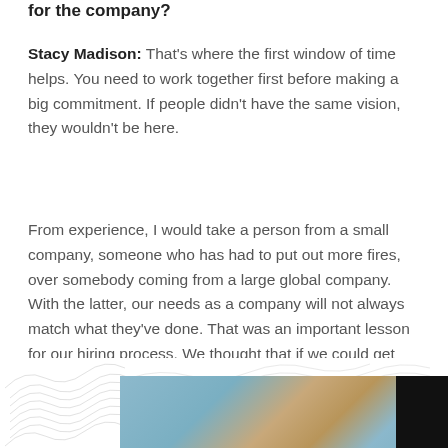for the company?
Stacy Madison: That's where the first window of time helps. You need to work together first before making a big commitment. If people didn't have the same vision, they wouldn't be here.
From experience, I would take a person from a small company, someone who has had to put out more fires, over somebody coming from a large global company. With the latter, our needs as a company will not always match what they've done. That was an important lesson for our hiring process. We thought that if we could get some big wig to join the team, it would be more beneficial for us. They would lead the way.
[Figure (photo): Photo of a granola/snack bar being held by a hand, with a teal textured background. Decorative wave line patterns visible on the left side. Black rectangle in upper right corner.]